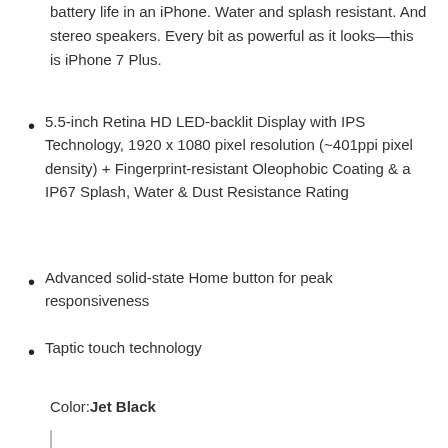battery life in an iPhone. Water and splash resistant. And stereo speakers. Every bit as powerful as it looks—this is iPhone 7 Plus.
5.5-inch Retina HD LED-backlit Display with IPS Technology, 1920 x 1080 pixel resolution (~401ppi pixel density) + Fingerprint-resistant Oleophobic Coating & a IP67 Splash, Water & Dust Resistance Rating
Advanced solid-state Home button for peak responsiveness
Taptic touch technology
Color: Jet Black